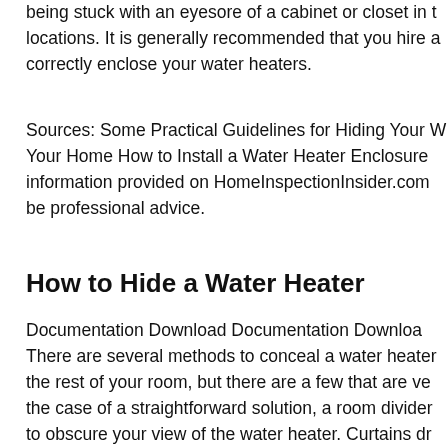being stuck with an eyesore of a cabinet or closet in the locations. It is generally recommended that you hire a correctly enclose your water heaters.
Sources: Some Practical Guidelines for Hiding Your W... Your Home How to Install a Water Heater Enclosure information provided on HomeInspectionInsider.com be professional advice.
How to Hide a Water Heater
Documentation Download Documentation Download There are several methods to conceal a water heater the rest of your room, but there are a few that are ve the case of a straightforward solution, a room divider to obscure your view of the water heater. Curtains dr ceiling can also serve as a light and inexpensive altern